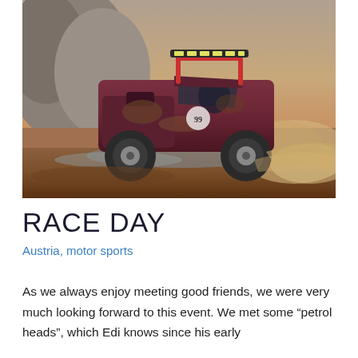[Figure (photo): A red/maroon rally car covered in mud racing across a dusty dirt track, with a roll cage and light bar on top. The background shows rocky terrain with orange-red dust being kicked up by the rear wheels.]
RACE DAY
Austria, motor sports
As we always enjoy meeting good friends, we were very much looking forward to this event. We met some “petrol heads”, which Edi knows since his early